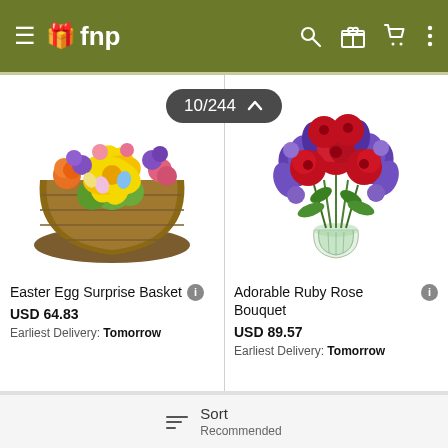fnp
[Figure (photo): Easter Egg Surprise Basket - colorful flower arrangement in a wicker basket with yellow lilies, orange roses, and purple flowers]
[Figure (photo): Adorable Ruby Rose Bouquet - red roses and purple iris flowers in a clear glass vase]
Easter Egg Surprise Basket
USD 64.83
Earliest Delivery: Tomorrow
Adorable Ruby Rose Bouquet
USD 89.57
Earliest Delivery: Tomorrow
Sort
Recommended